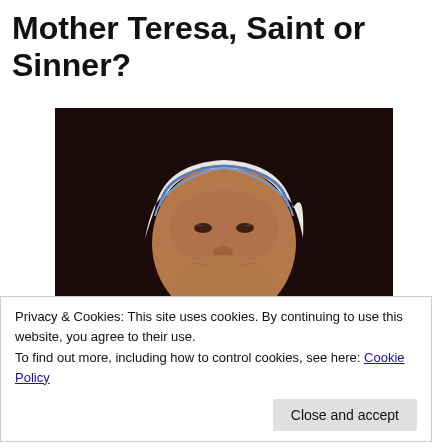Mother Teresa, Saint or Sinner?
[Figure (photo): Portrait photograph of Mother Teresa in white and blue habit, hands clasped in prayer, holding rosary beads, dark background]
Privacy & Cookies: This site uses cookies. By continuing to use this website, you agree to their use.
To find out more, including how to control cookies, see here: Cookie Policy
Close and accept